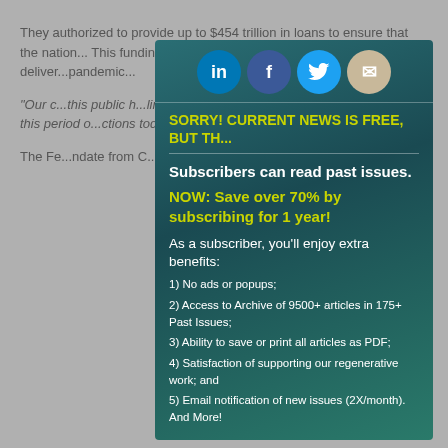They authorized to provide up to $454 trillion in loans to ensure that the nation... This funding will assist in...and bolster...wants to deliver...pandemic... 'Our c...this public h...limiting the fun...erve Board...as to provide...g this period o...ctions today...as vigoro... The Fe...ndate from C...ment
[Figure (screenshot): Subscription modal popup with social sharing icons (LinkedIn, Facebook, Twitter, Email), a header 'SORRY! CURRENT NEWS IS FREE, BUT THIS...' in yellow, a horizontal divider, white bold text 'Subscribers can read past issues.', yellow bold text 'NOW: Save over 70% by subscribing for 1 year!', white text 'As a subscriber, you’ll enjoy extra benefits:', and a numbered list of 5 benefits on a dark teal gradient background.]
SORRY! CURRENT NEWS IS FREE, BUT TH...
Subscribers can read past issues.
NOW: Save over 70% by subscribing for 1 year!
As a subscriber, you’ll enjoy extra benefits:
1) No ads or popups;
2) Access to Archive of 9500+ articles in 175+ Past Issues;
3) Ability to save or print all articles as PDF;
4) Satisfaction of supporting our regenerative work; and
5) Email notification of new issues (2X/month). And More!